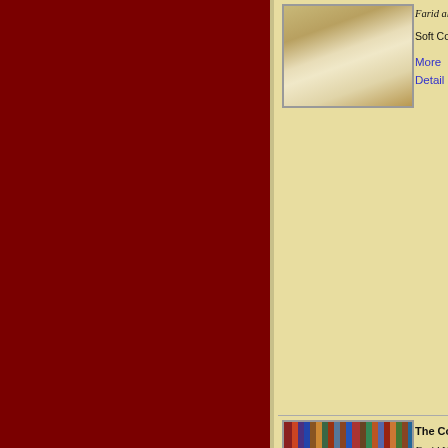[Figure (photo): Open book on a table, book catalog image, top entry]
Farid al-Din
Soft Cover, 28
More Detail
[Figure (photo): Bookshelf with colorful spines and open book in foreground, bottom entry]
The Confere
Farid Ud-Dir
Soft Cover, 1
More Detail